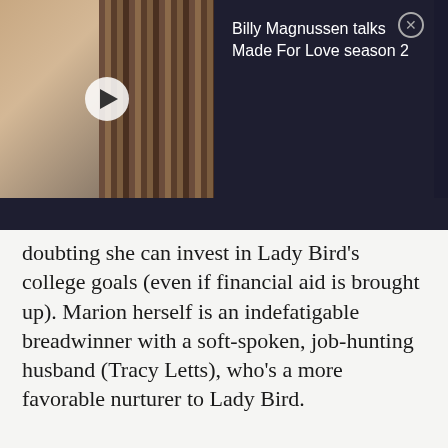[Figure (screenshot): Video overlay with thumbnail showing two people on a video call (man on left, woman on right with bookshelf background), a play button in the center, and video title 'Billy Magnussen talks Made For Love season 2' on a dark background panel to the right. A close (X) button is in the top right corner.]
doubting she can invest in Lady Bird's college goals (even if financial aid is brought up). Marion herself is an indefatigable breadwinner with a soft-spoken, job-hunting husband (Tracy Letts), who's a more favorable nurturer to Lady Bird.
ADVERTISEMENT